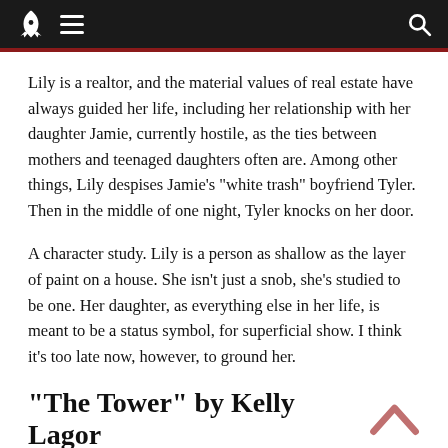Navigation header with rocket logo, hamburger menu, and search icon
Lily is a realtor, and the material values of real estate have always guided her life, including her relationship with her daughter Jamie, currently hostile, as the ties between mothers and teenaged daughters often are. Among other things, Lily despises Jamie’s “white trash” boyfriend Tyler. Then in the middle of one night, Tyler knocks on her door.
A character study. Lily is a person as shallow as the layer of paint on a house. She isn’t just a snob, she’s studied to be one. Her daughter, as everything else in her life, is meant to be a status symbol, for superficial show. I think it’s too late now, however, to ground her.
“The Tower” by Kelly Lagor
Dana’s mother filled up her head with fantasy, in